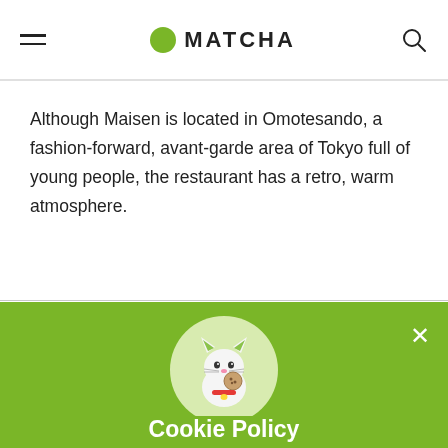MATCHA
Although Maisen is located in Omotesando, a fashion-forward, avant-garde area of Tokyo full of young people, the restaurant has a retro, warm atmosphere.
[Figure (illustration): Green cookie policy popup overlay with a cat mascot illustration in a light green circle, showing a cartoon cat eating a cookie with a red collar, on a green background.]
Cookie Policy
We use cookies to improve our contents. Check the detail and update your settings here.
Accept